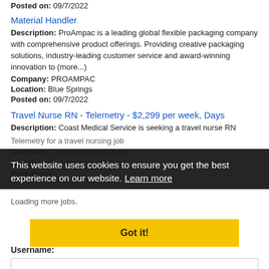Posted on: 09/7/2022
Material Handler
Description: ProAmpac is a leading global flexible packaging company with comprehensive product offerings. Providing creative packaging solutions, industry-leading customer service and award-winning innovation to (more...)
Company: PROAMPAC
Location: Blue Springs
Posted on: 09/7/2022
Travel Nurse RN - Telemetry - $2,299 per week, Days
Description: Coast Medical Service is seeking a travel nurse RN Telemetry for a travel nursing job
Company: Coast Medical Service
Location: Blue Springs
Posted on:
Loading more jobs.
This website uses cookies to ensure you get the best experience on our website. Learn more
Log In or Create An Account
Got it!
Username: